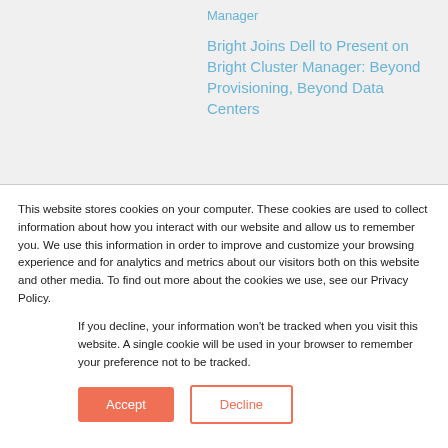Manager
Bright Joins Dell to Present on Bright Cluster Manager: Beyond Provisioning, Beyond Data Centers
This website stores cookies on your computer. These cookies are used to collect information about how you interact with our website and allow us to remember you. We use this information in order to improve and customize your browsing experience and for analytics and metrics about our visitors both on this website and other media. To find out more about the cookies we use, see our Privacy Policy.
If you decline, your information won't be tracked when you visit this website. A single cookie will be used in your browser to remember your preference not to be tracked.